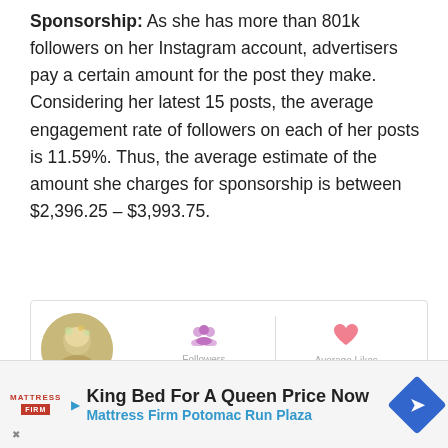Sponsorship: As she has more than 801k followers on her Instagram account, advertisers pay a certain amount for the post they make. Considering her latest 15 posts, the average engagement rate of followers on each of her posts is 11.59%. Thus, the average estimate of the amount she charges for sponsorship is between $2,396.25 – $3,993.75.
[Figure (infographic): Instagram profile stats card showing profile photo, Followers: 801,397 and Average Likes: 92,730, with Visit Profile link and bottom row for Engagement Rate and Estimated Earnings Per Post]
[Figure (infographic): Advertisement banner: King Bed For A Queen Price Now – Mattress Firm Potomac Run Plaza, with Mattress Firm logo and navigation icon]